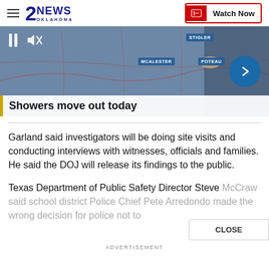2NEWS OKLAHOMA | Watch Now
[Figure (screenshot): Weather broadcast video thumbnail showing a map with location labels (STIGLER, MCALESTER, POTEAU), a meteorologist pointing at the map, video playback controls (pause, mute), a forward arrow button, and a lower-third ticker reading 'Showers move out today']
Garland said investigators will be doing site visits and conducting interviews with witnesses, officials and families. He said the DOJ will release its findings to the public.
Texas Department of Public Safety Director Steve McCraw said school district Police Chief Pete Arredondo made the wrong decision for police not to